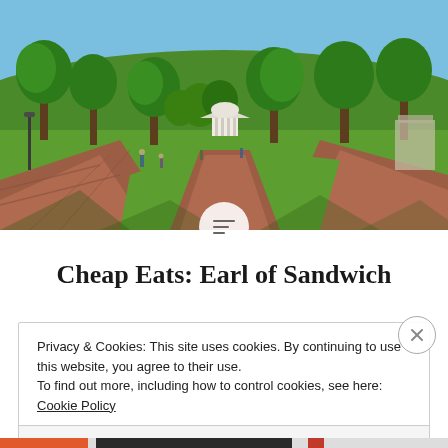[Figure (photo): Panoramic outdoor photo of a university campus park in summer, with brick walkways, green lawn, mature trees with full foliage, and a small columned gazebo or rotunda visible in the background. People are walking along the path. Blue sky with bright sunlight.]
Cheap Eats: Earl of Sandwich
Privacy & Cookies: This site uses cookies. By continuing to use this website, you agree to their use.
To find out more, including how to control cookies, see here: Cookie Policy
Close and accept